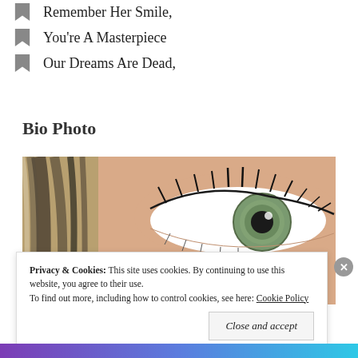Remember Her Smile,
You're A Masterpiece
Our Dreams Are Dead,
Bio Photo
[Figure (photo): Close-up photo of a woman's eye with long dark eyelashes and green/grey iris, with blonde and dark streaked hair visible on the left side.]
Privacy & Cookies:  This site uses cookies. By continuing to use this website, you agree to their use.
To find out more, including how to control cookies, see here: Cookie Policy
Close and accept